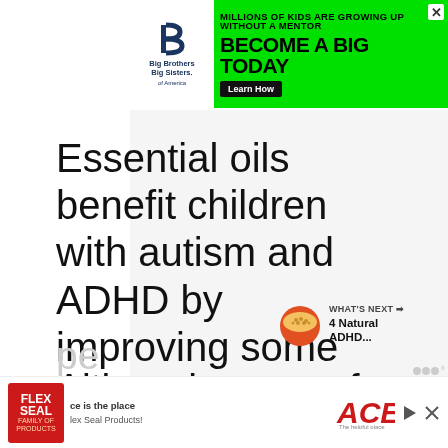[Figure (screenshot): Big Brothers Big Sisters advertisement banner on green background with 'MILLIONS OF KIDS ARE GROWING UP WITHOUT A MENTOR' and 'BECOME A BIG TODAY' with a 'Learn How' button]
Essential oils benefit children with autism and ADHD by improving some common symptoms children experience.
[Figure (screenshot): What's Next card with bowl image, label 'WHAT'S NEXT' and text '4 Natural ADHD...']
Although many of the benefits may be considered anecdotal, they have benefited pe...s
[Figure (screenshot): Flex Seal / ACE Hardware bottom advertisement banner]